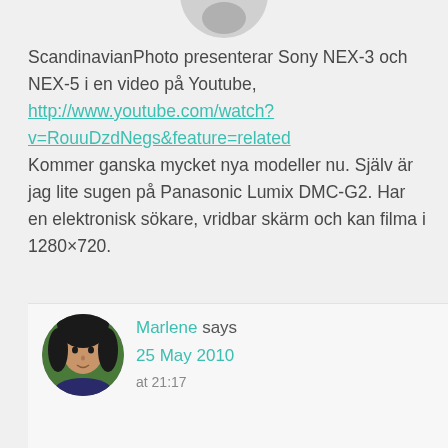[Figure (photo): Partial top of a circular avatar at the top of the page]
ScandinavianPhoto presenterar Sony NEX-3 och NEX-5 i en video på Youtube, http://www.youtube.com/watch?v=RouuDzdNegs&feature=related Kommer ganska mycket nya modeller nu. Själv är jag lite sugen på Panasonic Lumix DMC-G2. Har en elektronisk sökare, vridbar skärm och kan filma i 1280×720.
Reply
Marlene says
25 May 2010
[Figure (photo): Circular avatar photo of a woman with dark hair against a green background]